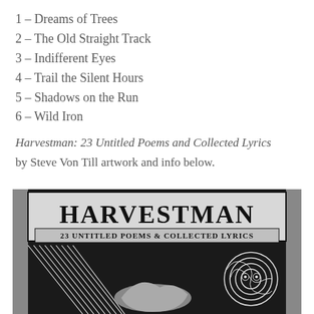1 – Dreams of Trees
2 – The Old Straight Track
3 – Indifferent Eyes
4 – Trail the Silent Hours
5 – Shadows on the Run
6 – Wild Iron
Harvestman: 23 Untitled Poems and Collected Lyrics by Steve Von Till artwork and info below.
[Figure (illustration): Book cover for Harvestman: 23 Untitled Poems & Collected Lyrics. Black and white woodcut-style illustration showing large stylized text 'HARVESTMAN' at top with subtitle '23 UNTITLED POEMS & COLLECTED LYRICS' below. Dark background with white woodcut-style imagery of a bird/figure and swirling spiral owl-like face in the lower portion.]